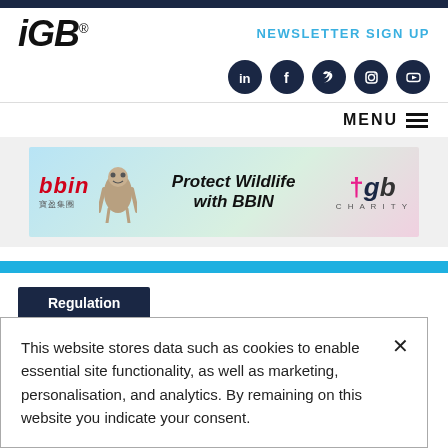[Figure (logo): iGB logo — bold black italic text with registered trademark symbol]
NEWSLETTER SIGN UP
[Figure (illustration): Social media icons row: LinkedIn, Facebook, Twitter, Instagram, YouTube — dark navy circles with white icons]
MENU ≡
[Figure (illustration): BBIN advertisement banner: bbin logo on left, sloth graphic, 'Protect Wildlife with BBIN' text, tgb CHARITY logo on right]
Regulation
This website stores data such as cookies to enable essential site functionality, as well as marketing, personalisation, and analytics. By remaining on this website you indicate your consent.